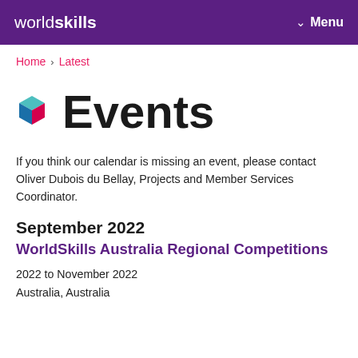worldskills   Menu
Home > Latest
Events
If you think our calendar is missing an event, please contact Oliver Dubois du Bellay, Projects and Member Services Coordinator.
September 2022
WorldSkills Australia Regional Competitions
2022 to November 2022
Australia, Australia